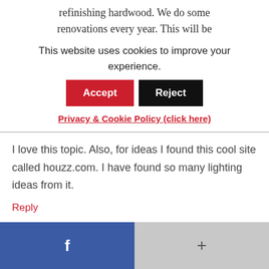refinishing hardwood. We do some renovations every year. This will be
This website uses cookies to improve your experience.
Privacy & Cookie Policy (click here)
I love this topic. Also, for ideas I found this cool site called houzz.com. I have found so many lighting ideas from it.
Reply
f  +